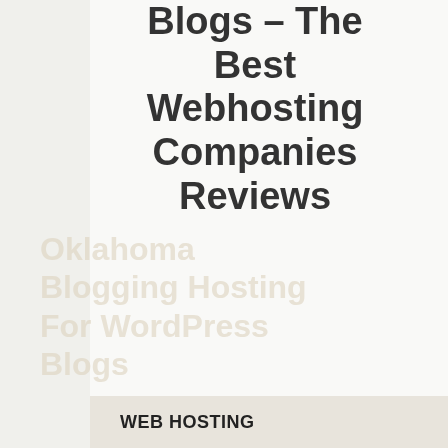Blogs – The Best Webhosting Companies Reviews
Oklahoma Blogging Hosting For WordPress Blogs
WEB HOSTING